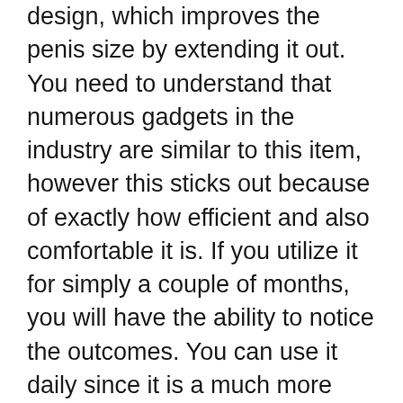design, which improves the penis size by extending it out. You need to understand that numerous gadgets in the industry are similar to this item, however this sticks out because of exactly how efficient and also comfortable it is. If you utilize it for simply a couple of months, you will have the ability to notice the outcomes. You can use it daily since it is a much more hassle-free tool as well as it likewise comfortable. It offers you numerous benefits, such as an excellent erection for outstanding sex, improved size as well as girth of the penis. It appropriates for any type of offered penis size.
When it pertains to utilizing this device, it is a bit streamlined because it integrates four primary attributes. It has sleeves, which you